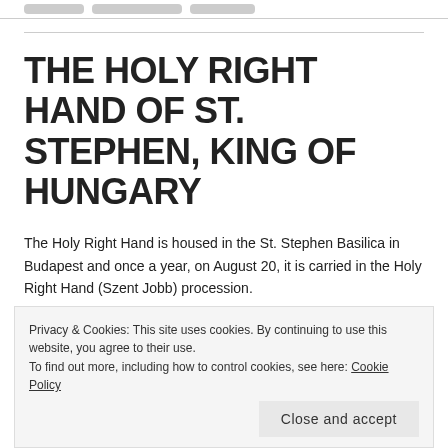THE HOLY RIGHT HAND OF ST. STEPHEN, KING OF HUNGARY
The Holy Right Hand is housed in the St. Stephen Basilica in Budapest and once a year, on August 20, it is carried in the Holy Right Hand (Szent Jobb) procession.
Privacy & Cookies: This site uses cookies. By continuing to use this website, you agree to their use.
To find out more, including how to control cookies, see here: Cookie Policy
Close and accept